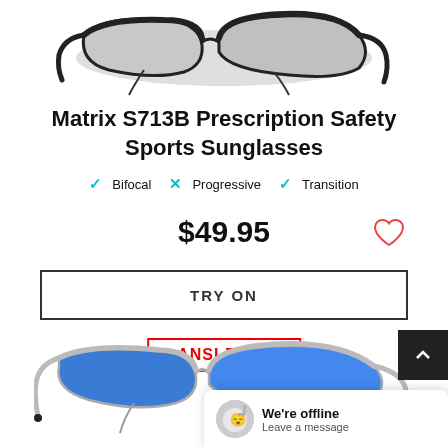[Figure (photo): Dark-framed sport sunglasses with gray lenses, viewed from slightly above, half-frame style]
Matrix S713B Prescription Safety Sports Sunglasses
✓ Bifocal  ✗ Progressive  ✓ Transition
$49.95
TRY ON
ANSI Z87.1
[Figure (photo): Silver-framed sport sunglasses with blue mirror lenses, viewed from slightly above]
We're offline
Leave a message